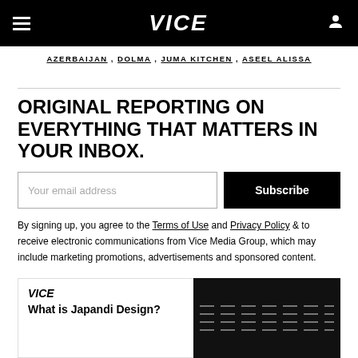VICE
AZERBAIJAN , DOLMA , JUMA KITCHEN , ASEEL ALISSA
ORIGINAL REPORTING ON EVERYTHING THAT MATTERS IN YOUR INBOX.
Your email address  [Subscribe button]
By signing up, you agree to the Terms of Use and Privacy Policy & to receive electronic communications from Vice Media Group, which may include marketing promotions, advertisements and sponsored content.
[Figure (screenshot): Bottom card preview showing Vice logo, 'What is Japandi Design?' text on left, and a dark image panel with dashed lines on right]